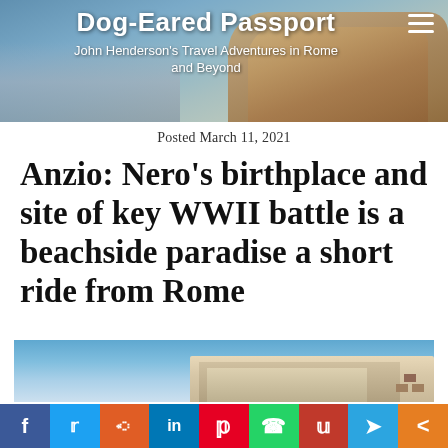Dog-Eared Passport — John Henderson's Travel Adventures in Rome and Beyond
Posted March 11, 2021
Anzio: Nero's birthplace and site of key WWII battle is a beachside paradise a short ride from Rome
[Figure (photo): Coastal cityscape of Anzio with colourful buildings along the waterfront under a blue sky]
Social share bar: Facebook, Twitter, Reddit, LinkedIn, Pinterest, WhatsApp, Flipboard, Telegram, Share